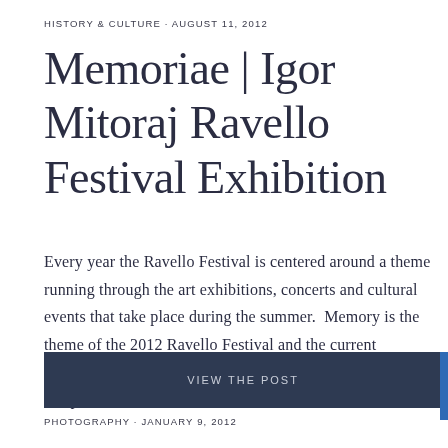HISTORY & CULTURE · AUGUST 11, 2012
Memoriae | Igor Mitoraj Ravello Festival Exhibition
Every year the Ravello Festival is centered around a theme running through the art exhibitions, concerts and cultural events that take place during the summer.  Memory is the theme of the 2012 Ravello Festival and the current exhibition Memoriae, Mitoraj a Ravello. The monumental sculptural works of …
VIEW THE POST
PHOTOGRAPHY · JANUARY 9, 2012